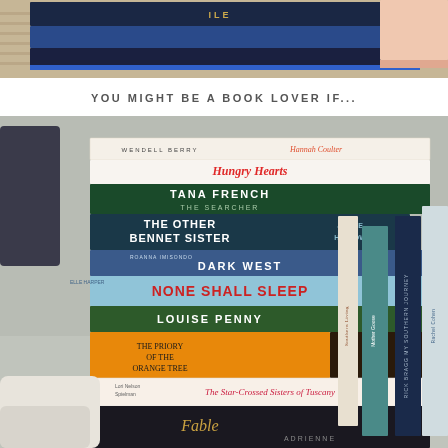[Figure (photo): Top portion of a stack of books on a coffee table, close-up showing blue and navy book spines with gold lettering, on a woven rug background.]
YOU MIGHT BE A BOOK LOVER IF...
[Figure (photo): A large stack of books piled on a couch or chair, with visible titles including: Hannah Coulter by Wendell Berry, Hungry Hearts, Tana French The Searcher, The Other Bennet Sister by Janice Hadlow, Dark West, None Shall Sleep, Louise Penny, The Priory of the Orange Tree, The Star-Crossed Sisters of Tuscany by Lori Nelson Spielman, Fable by Adrienne. Several books also lean vertically on the right side including Rick Bragg My Southern Journey and others.]